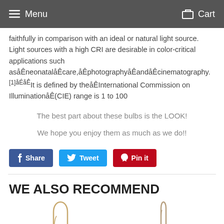Menu   Cart
faithfully in comparison with an ideal or natural light source. Light sources with a high CRI are desirable in color-critical applications such asåÃneonatalåÃcare,åÃphotographyåÃandåÃcinematography. [1]åÃåÃIt is defined by theåÃInternational Commission on IlluminationåÃ(CIE) range is 1 to 100
The best part about these bulbs is the LOOK!
We hope you enjoy them as much as we do!!
Share   Tweet   Pin it
WE ALSO RECOMMEND
[Figure (photo): Two product images of light bulbs shown at the bottom of the page]